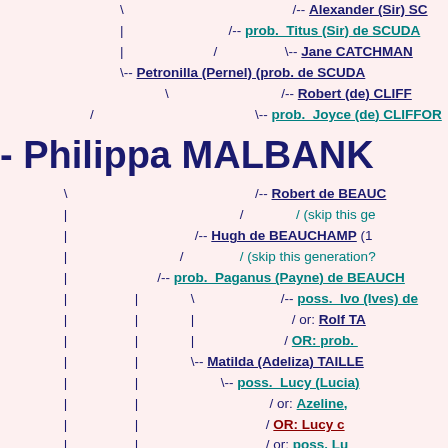[Figure (organizational-chart): Genealogy/family tree chart showing ancestors of Philippa MALBANK, with entries for Alexander (Sir) SCUDA, Titus (Sir) de SCUDA, Jane CATCHMAN, Petronilla (Pernel) (prob. de SCUDA), Robert (de) CLIFF, prob. Joyce (de) CLIFFOR, Robert de BEAUC, Hugh de BEAUCHAMP, prob. Paganus (Payne) de BEAUCH, poss. Ivo (Ives) de, Rolf TA, OR: prob., Matilda (Adeliza) TAILLE, poss. Lucy (Lucia), Azeline, OR: Lucy c, or: poss. Lu, and Andelicia (prob. de BEAUCHAMP)]